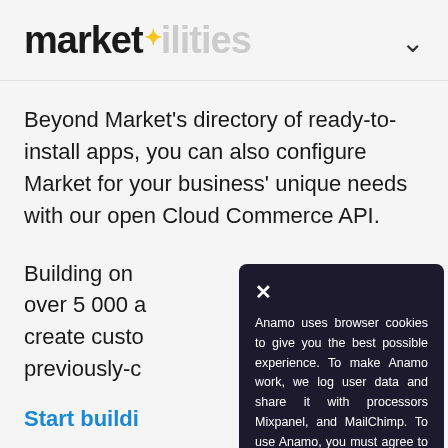market✦ilities
Beyond Market's directory of ready-to-install apps, you can also configure Market for your business' unique needs with our open Cloud Commerce API.
Building on [obscured] over 5 000 a[obscured] create custo[obscured] previously-c[obscured]
Start buildi[obscured]
[Figure (screenshot): Dark cookie consent popup with close X button and text: Anamo uses browser cookies to give you the best possible experience. To make Anamo work, we log user data and share it with processors Mixpanel, and MailChimp. To use Anamo, you must agree to our Privacy Policy.]